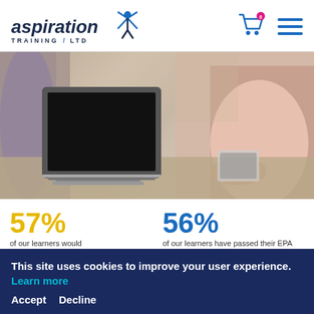[Figure (logo): Aspiration Training Ltd logo with stylized X figure and italic text]
[Figure (photo): Hero image showing a laptop in the foreground and two people in the background in an office/meeting setting]
57%
of our learners would
56%
of our learners have passed their EPA with a Merits/Distinction
This site uses cookies to improve your user experience. Learn more
Accept   Decline